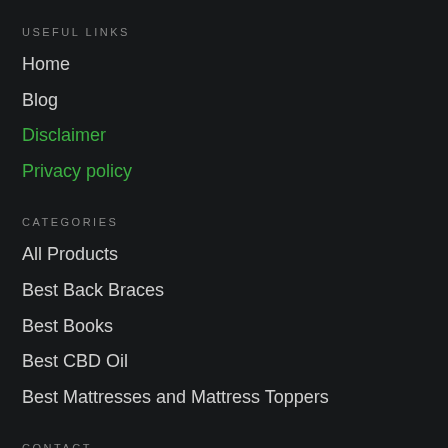USEFUL LINKS
Home
Blog
Disclaimer
Privacy policy
CATEGORIES
All Products
Best Back Braces
Best Books
Best CBD Oil
Best Mattresses and Mattress Toppers
CONTACT
[Figure (illustration): Map pin / location icon in gray]